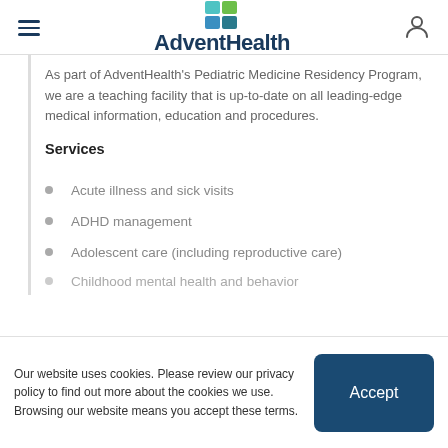AdventHealth
As part of AdventHealth's Pediatric Medicine Residency Program, we are a teaching facility that is up-to-date on all leading-edge medical information, education and procedures.
Services
Acute illness and sick visits
ADHD management
Adolescent care (including reproductive care)
Childhood mental health and behavior
Our website uses cookies. Please review our privacy policy to find out more about the cookies we use. Browsing our website means you accept these terms.